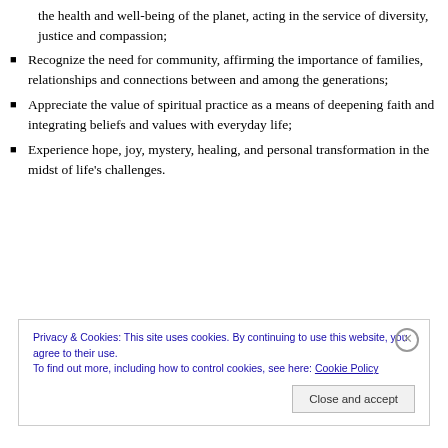the health and well-being of the planet, acting in the service of diversity, justice and compassion;
Recognize the need for community, affirming the importance of families, relationships and connections between and among the generations;
Appreciate the value of spiritual practice as a means of deepening faith and integrating beliefs and values with everyday life;
Experience hope, joy, mystery, healing, and personal transformation in the midst of life’s challenges.
Privacy & Cookies: This site uses cookies. By continuing to use this website, you agree to their use. To find out more, including how to control cookies, see here: Cookie Policy